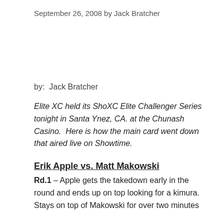September 26, 2008 by Jack Bratcher
by:  Jack Bratcher
Elite XC held its ShoXC Elite Challenger Series tonight in Santa Ynez, CA. at the Chunash Casino.  Here is how the main card went down that aired live on Showtime.
Erik Apple vs. Matt Makowski
Rd.1 – Apple gets the takedown early in the round and ends up on top looking for a kimura. Stays on top of Makowski for over two minutes